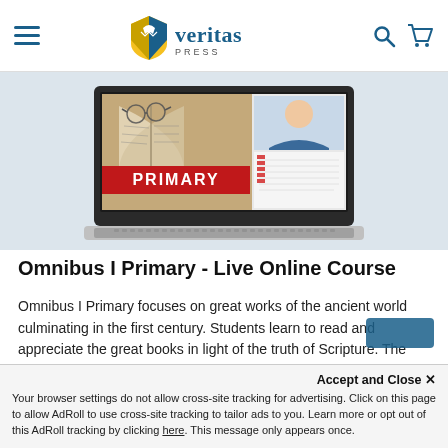Veritas Press — navigation header with hamburger menu, Veritas Press logo, search and cart icons
[Figure (photo): Laptop computer displaying a book with reading glasses and a teacher on screen, with a red banner reading PRIMARY]
Omnibus I Primary - Live Online Course
Omnibus I Primary focuses on great works of the ancient world culminating in the first century. Students learn to read and appreciate the great books in light of the truth of Scripture. The Omnibus courses are the b...
$749.00  # SA0016
Accept and Close ✕
Your browser settings do not allow cross-site tracking for advertising. Click on this page to allow AdRoll to use cross-site tracking to tailor ads to you. Learn more or opt out of this AdRoll tracking by clicking here. This message only appears once.